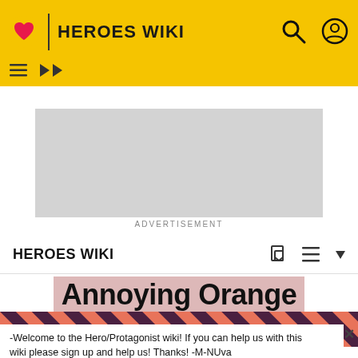HEROES WIKI
[Figure (screenshot): Advertisement placeholder (grey rectangle)]
ADVERTISEMENT
HEROES WIKI
Annoying Orange
[Figure (illustration): Diagonal coral/pink and dark purple stripe pattern banner]
-Welcome to the Hero/Protagonist wiki! If you can help us with this wiki please sign up and help us! Thanks! -M-NUva